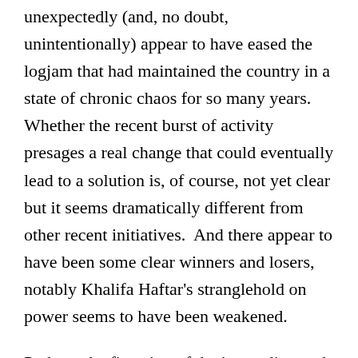unexpectedly (and, no doubt, unintentionally) appear to have eased the logjam that had maintained the country in a state of chronic chaos for so many years.  Whether the recent burst of activity presages a real change that could eventually lead to a solution is, of course, not yet clear but it seems dramatically different from other recent initiatives.  And there appear to have been some clear winners and losers, notably Khalifa Haftar's stranglehold on power seems to have been weakened.
Perhaps the first sign of the impending end to the stasis emerged in early September 2020, when the commander of Eastern Libya's armed forces agreed to temporarily suspend his blockade on Libyan oil exports that he had imposed at the start of the year.  The blockade was estimated to have deprived Libya of